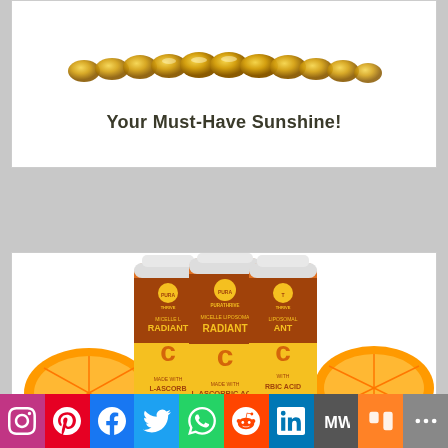[Figure (photo): Row of golden/yellow supplement capsules/softgels arranged horizontally]
Your Must-Have Sunshine!
[Figure (photo): Three bottles of PuraThrive Micelle Liposomal Radiant C supplement with L-Ascorbic Acid 1000mg, orange and brown labels, with orange slices in background]
[Figure (infographic): Social media share bar with icons: Instagram, Pinterest, Facebook, Twitter, WhatsApp, Reddit, LinkedIn, MeWe, Mix, More]